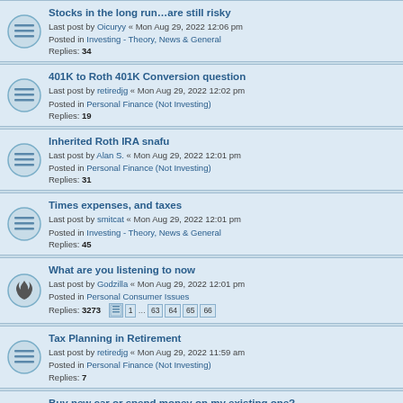Stocks in the long run...are still risky
Last post by Oicuryy « Mon Aug 29, 2022 12:06 pm
Posted in Investing - Theory, News & General
Replies: 34
401K to Roth 401K Conversion question
Last post by retiredjg « Mon Aug 29, 2022 12:02 pm
Posted in Personal Finance (Not Investing)
Replies: 19
Inherited Roth IRA snafu
Last post by Alan S. « Mon Aug 29, 2022 12:01 pm
Posted in Personal Finance (Not Investing)
Replies: 31
Times expenses, and taxes
Last post by smitcat « Mon Aug 29, 2022 12:01 pm
Posted in Investing - Theory, News & General
Replies: 45
What are you listening to now
Last post by Godzilla « Mon Aug 29, 2022 12:01 pm
Posted in Personal Consumer Issues
Replies: 3273  1 ... 63 64 65 66
Tax Planning in Retirement
Last post by retiredjg « Mon Aug 29, 2022 11:59 am
Posted in Personal Finance (Not Investing)
Replies: 7
Buy new car or spend money on my existing one?
Last post by markjk « Mon Aug 29, 2022 11:55 am
Posted in Personal Consumer Issues
Replies: 29
AMEX Airline Fee Credit re United Wifi